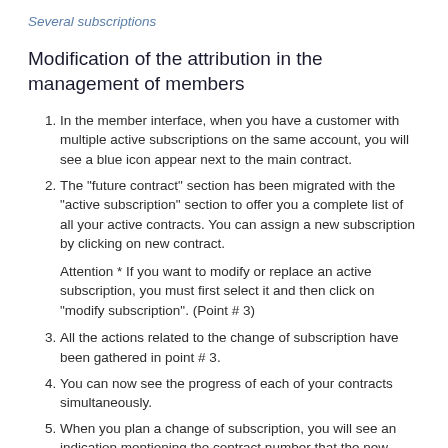Several subscriptions
Modification of the attribution in the management of members
In the member interface, when you have a customer with multiple active subscriptions on the same account, you will see a blue icon appear next to the main contract.
The "future contract" section has been migrated with the "active subscription" section to offer you a complete list of all your active contracts. You can assign a new subscription by clicking on new contract.
Attention * If you want to modify or replace an active subscription, you must first select it and then click on "modify subscription". (Point # 3)
All the actions related to the change of subscription have been gathered in point # 3.
You can now see the progress of each of your contracts simultaneously.
When you plan a change of subscription, you will see an indication mentioning the contract number that the new contract will replace.